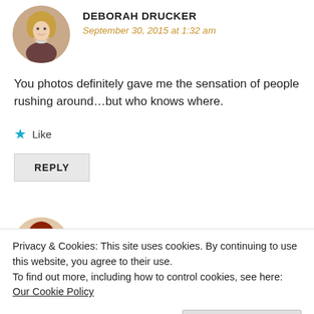[Figure (photo): Circular avatar photo of Deborah Drucker, a blonde woman]
DEBORAH DRUCKER
September 30, 2015 at 1:32 am
You photos definitely gave me the sensation of people rushing around…but who knows where.
★ Like
REPLY
[Figure (photo): Circular avatar photo of LDG Luciledegodoy with red/auburn hair]
LDG LUCILEDEGODOY
Privacy & Cookies: This site uses cookies. By continuing to use this website, you agree to their use.
To find out more, including how to control cookies, see here: Our Cookie Policy
Close and accept
★ Liked by 1 person